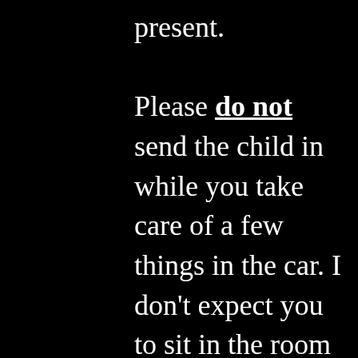present.

Please do not send the child in while you take care of a few things in the car. I don't expect you to sit in the room every minute of the lesson, but